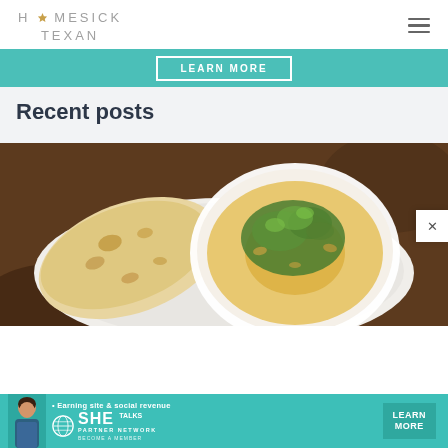HOMESICK TEXAN
[Figure (infographic): Teal banner with LEARN MORE button in white outlined rectangle]
Recent posts
[Figure (photo): Food photograph showing a bowl of hummus topped with green herbs and olive oil, beside flatbread on a white plate on a dark background]
[Figure (infographic): SHE Partner Network advertisement banner: woman photo, bullet text Earning site & social revenue, SHE globe logo, LEARN MORE button, X close button]